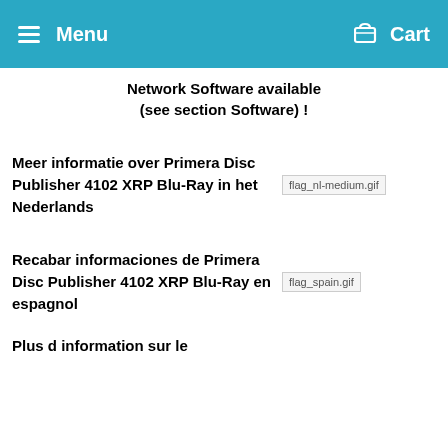Menu   Cart
Network Software available (see section Software) !
Meer informatie over Primera Disc Publisher 4102 XRP Blu-Ray in het Nederlands
[Figure (photo): Dutch flag image placeholder: flag_nl-medium.gif]
Recabar informaciones de Primera Disc Publisher 4102 XRP Blu-Ray en espagnol
[Figure (photo): Spanish flag image placeholder: flag_spain.gif]
Plus d information sur le